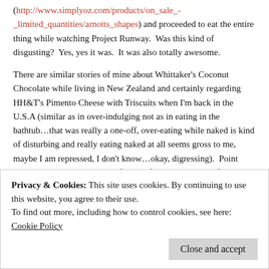(http://www.simplyoz.com/products/on_sale_-_limited_quantities/arnotts_shapes) and proceeded to eat the entire thing while watching Project Runway.  Was this kind of disgusting?  Yes, yes it was.  It was also totally awesome.
There are similar stories of mine about Whittaker's Coconut Chocolate while living in New Zealand and certainly regarding HH&T's Pimento Cheese with Triscuits when I'm back in the U.S.A (similar as in over-indulging not as in eating in the bathtub...that was really a one-off, over-eating while naked is kind of disturbing and really eating naked at all seems gross to me, maybe I am repressed, I don't know...okay, digressing).  Point being, while I am not much of a junk food eater, when I find my junk food that I love I can go a little overboard.  Lucky for me, however, the aforementioned junk-food kryptonite doesn't exist in every country and I have to travel long and expensive distances to get it.
Privacy & Cookies: This site uses cookies. By continuing to use this website, you agree to their use.
To find out more, including how to control cookies, see here:
Cookie Policy